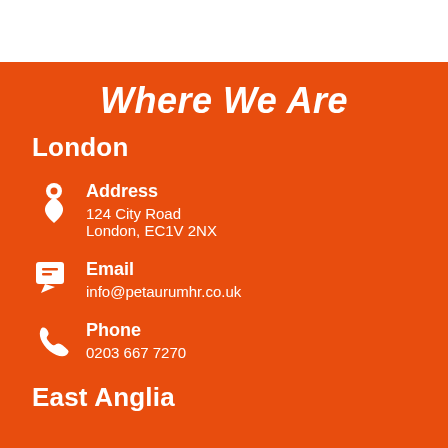Where We Are
London
Address
124 City Road
London, EC1V 2NX
Email
info@petaurumhr.co.uk
Phone
0203 667 7270
East Anglia